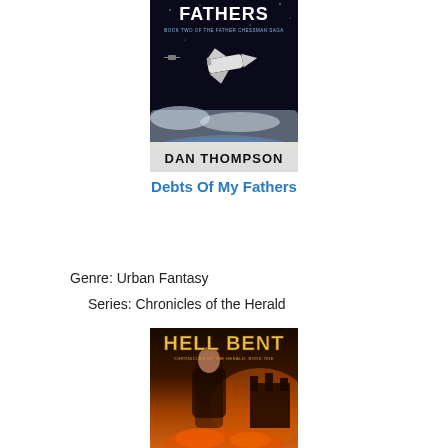[Figure (illustration): Book cover for 'Debts Of My Fathers' by Dan Thompson — Book Two of the Father Chessman Saga. Dark space background with a space shuttle above Earth's atmosphere and the word FATHERS visible at the top.]
Debts Of My Fathers
Genre: Urban Fantasy
Series: Chronicles of the Herald
[Figure (illustration): Book cover for 'Hell Bent' — Chronicles of the Herald, Book One. Shows a woman in a leather jacket against a fiery, dramatic background with a castle and flying creatures.]